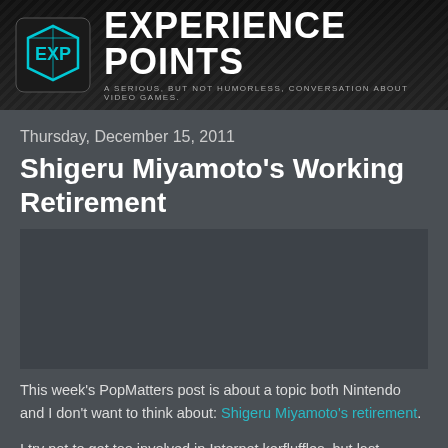[Figure (logo): Experience Points podcast logo banner with EXP cube logo and text 'EXPERIENCE POINTS' with tagline 'A SERIOUS, BUT NOT HUMORLESS, CONVERSATION ABOUT VIDEO GAMES.']
Thursday, December 15, 2011
Shigeru Miyamoto's Working Retirement
[Figure (photo): Embedded media player or image placeholder area]
This week's PopMatters post is about a topic both Nintendo and I don't want to think about: Shigeru Miyamoto's retirement.
I try not to get too involved in Internet kerfluffles, but last